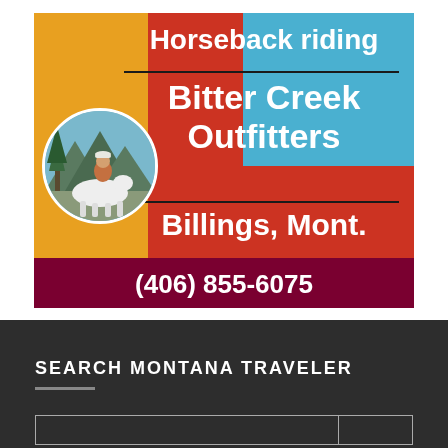[Figure (illustration): Advertisement for Bitter Creek Outfitters horseback riding in Billings, Montana. Colorful background with yellow, red, blue, and dark maroon sections. White text reads 'Horseback riding', 'Bitter Creek Outfitters', 'Billings, Mont.', and '(406) 855-6075'. A circular photo shows a person on a white horse in a mountain/forest setting.]
SEARCH MONTANA TRAVELER